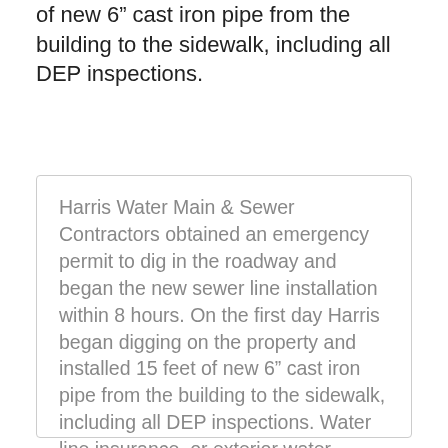of new 6" cast iron pipe from the building to the sidewalk, including all DEP inspections.
Harris Water Main & Sewer Contractors obtained an emergency permit to dig in the roadway and began the new sewer line installation within 8 hours. On the first day Harris began digging on the property and installed 15 feet of new 6" cast iron pipe from the building to the sidewalk, including all DEP inspections. Water line insurance, or exterior water service line coverage, is not a true insurance policy but a financial contract between a consumer and a company.